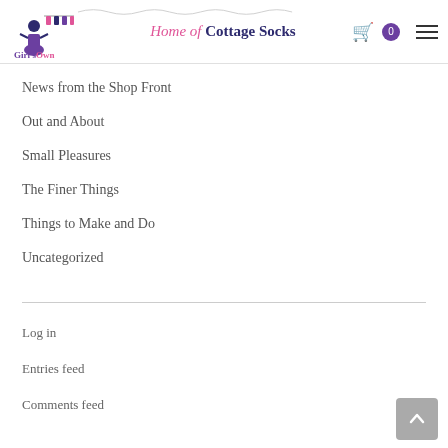Girl's Own Store — Home of Cottage Socks
News from the Shop Front
Out and About
Small Pleasures
The Finer Things
Things to Make and Do
Uncategorized
Log in
Entries feed
Comments feed